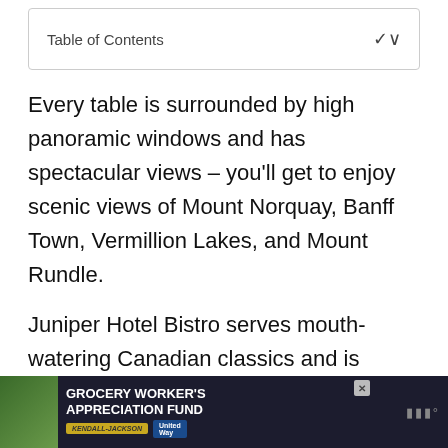Table of Contents
Every table is surrounded by high panoramic windows and has spectacular views – you'll get to enjoy scenic views of Mount Norquay, Banff Town, Vermillion Lakes, and Mount Rundle.
Juniper Hotel Bistro serves mouth-watering Canadian classics and is also a popular brunch spot. Try out their famous Salmon Benny – this dish will really hit the spot!
Address: 1 Juniper Way, Banff, AB